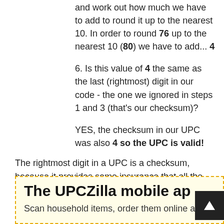and work out how much we have to add to round it up to the nearest 10. In order to round 76 up to the nearest 10 (80) we have to add... 4
6. Is this value of 4 the same as the last (rightmost) digit in our code - the one we ignored in steps 1 and 3 (that's our checksum)?
YES, the checksum in our UPC was also 4 so the UPC is valid!
The rightmost digit in a UPC is a checksum, because it provides some insurance that all the other numbers are right by performing the above calculation on them. The system is not foolproof, but if any number is wrong then you will typically get a wrong checksum.
The UPCZilla mobile ap
Scan household items, order them online at the